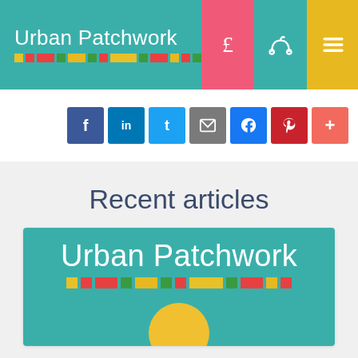Urban Patchwork
[Figure (screenshot): Social sharing buttons: Facebook, LinkedIn, Twitter, Email, Messenger, Pinterest, Plus]
Recent articles
[Figure (logo): Urban Patchwork logo on teal background with colorful dot pattern and yellow sun graphic]